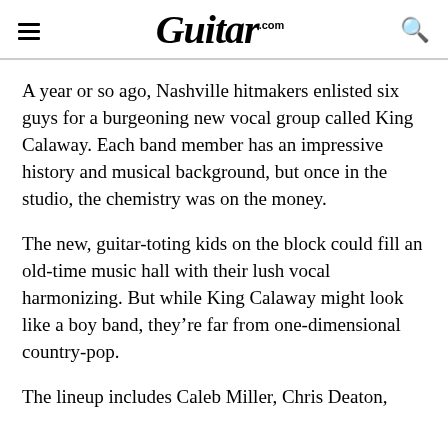Guitar.com
A year or so ago, Nashville hitmakers enlisted six guys for a burgeoning new vocal group called King Calaway. Each band member has an impressive history and musical background, but once in the studio, the chemistry was on the money.
The new, guitar-toting kids on the block could fill an old-time music hall with their lush vocal harmonizing. But while King Calaway might look like a boy band, they’re far from one-dimensional country-pop.
The lineup includes Caleb Miller, Chris Deaton, Simon…